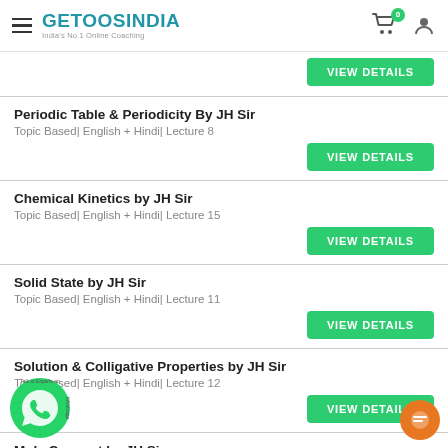GETOOSINDIA — India's No.1 Online Coaching
VIEW DETAILS
Periodic Table & Periodicity By JH Sir
Topic Based | English + Hindi | Lecture 8
VIEW DETAILS
Chemical Kinetics by JH Sir
Topic Based | English + Hindi | Lecture 15
VIEW DETAILS
Solid State by JH Sir
Topic Based | English + Hindi | Lecture 11
VIEW DETAILS
Solution & Colligative Properties by JH Sir
Topic Based | English + Hindi | Lecture 12
VIEW DETAILS
Mole Concept by JH Sir
Topic Based | English + Hindi | Lecture 14